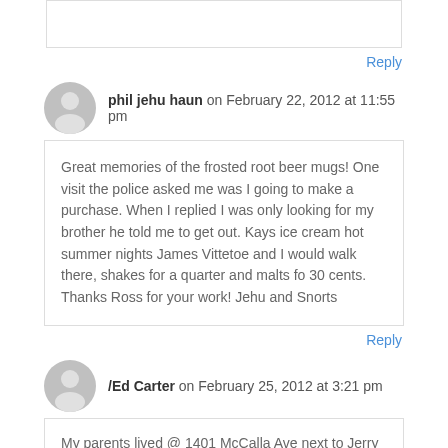(partial comment box at top, cut off)
Reply
phil jehu haun on February 22, 2012 at 11:55 pm
Great memories of the frosted root beer mugs! One visit the police asked me was I going to make a purchase. When I replied I was only looking for my brother he told me to get out. Kays ice cream hot summer nights James Vittetoe and I would walk there, shakes for a quarter and malts fo 30 cents. Thanks Ross for your work! Jehu and Snorts
Reply
/Ed Carter on February 25, 2012 at 3:21 pm
My parents lived @ 1401 McCalla Ave next to Jerry Hunley's parents house. As a kid growing up my grandfather would